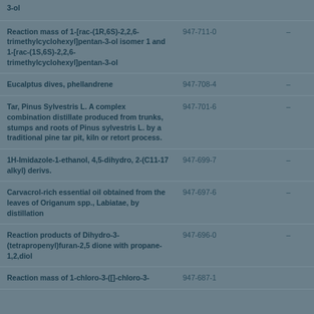| Substance name | EC number | CAS number |
| --- | --- | --- |
| 3-ol |  |  |
| Reaction mass of 1-[rac-(1R,6S)-2,2,6-trimethylcyclohexyl]pentan-3-ol isomer 1 and 1-[rac-(1S,6S)-2,2,6-trimethylcyclohexyl]pentan-3-ol | 947-711-0 | – |
| Eucalptus dives, phellandrene | 947-708-4 | – |
| Tar, Pinus Sylvestris L. A complex combination distillate produced from trunks, stumps and roots of Pinus sylvestris L. by a traditional pine tar pit, kiln or retort process. | 947-701-6 | – |
| 1H-Imidazole-1-ethanol, 4,5-dihydro, 2-(C11-17 alkyl) derivs. | 947-699-7 | – |
| Carvacrol-rich essential oil obtained from the leaves of Origanum spp., Labiatae, by distillation | 947-697-6 | – |
| Reaction products of Dihydro-3-(tetrapropenyl)furan-2,5 dione with propane-1,2,diol | 947-696-0 | – |
| Reaction mass of 1-chloro-3-([]-chloro-3- | 947-687-1 |  |